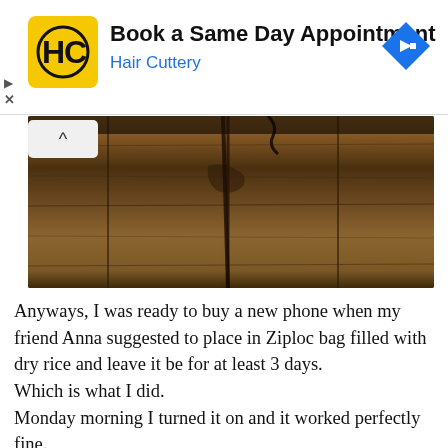[Figure (other): Hair Cuttery advertisement banner with yellow HC logo, text 'Book a Same Day Appointment' and 'Hair Cuttery' in blue, and a blue diamond directional arrow icon on the right]
[Figure (photo): Photo of weathered wooden planks/boards with dark brown wood grain texture, viewed from slightly above]
Anyways, I was ready to buy a new phone when my friend Anna suggested to place in Ziploc bag filled with dry rice and leave it be for at least 3 days.
Which is what I did.
Monday morning I turned it on and it worked perfectly fine.
I'm serious.
It's like nothing ever happened.
Maybe I was just lucky, or I've been patient enough.